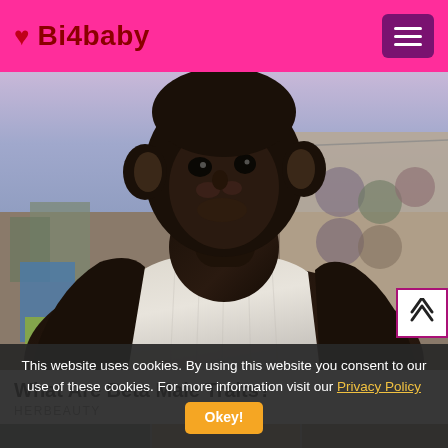♥ Bi4baby
[Figure (photo): A chimpanzee wearing a white tank top and silver chain necklace, with a tattoo on its neck, posed against an urban background with graffiti and barbed wire fence.]
What Are Beta Male Traits?
HERBEAUTY
[Figure (photo): Thumbnail strip showing partial images at the bottom of the page.]
This website uses cookies. By using this website you consent to our use of these cookies. For more information visit our Privacy Policy  Okey!